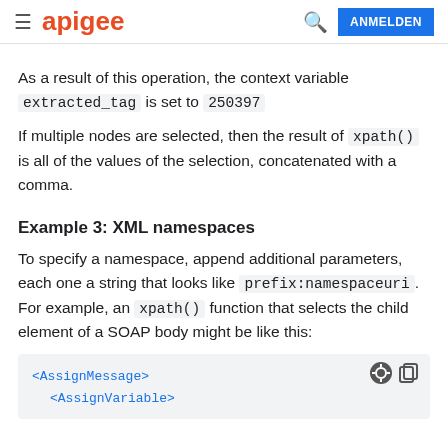apigee | ANMELDEN
As a result of this operation, the context variable extracted_tag is set to 250397
If multiple nodes are selected, then the result of xpath() is all of the values of the selection, concatenated with a comma.
Example 3: XML namespaces
To specify a namespace, append additional parameters, each one a string that looks like prefix:namespaceuri. For example, an xpath() function that selects the child element of a SOAP body might be like this:
[Figure (screenshot): Code block showing XML with <AssignMessage> and <AssignVariable> tags in blue monospace font on a light gray background, with dark/copy icons in the top right corner.]